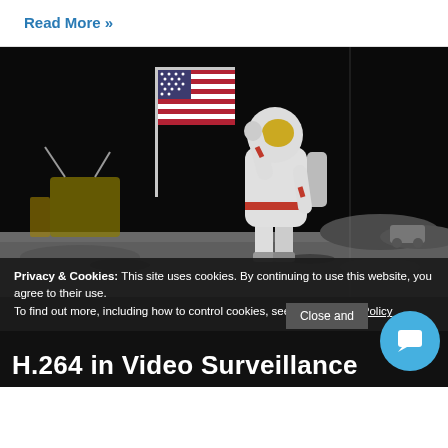Read More »
[Figure (photo): An astronaut in a white spacesuit saluting on the lunar surface next to an American flag, with the dark sky of space and rocky moonscape visible in the background. The photo appears to be from an Apollo mission.]
Privacy & Cookies: This site uses cookies. By continuing to use this website, you agree to their use.
To find out more, including how to control cookies, see here: Cookie Policy
Close and
H.264 in Video Surveillance